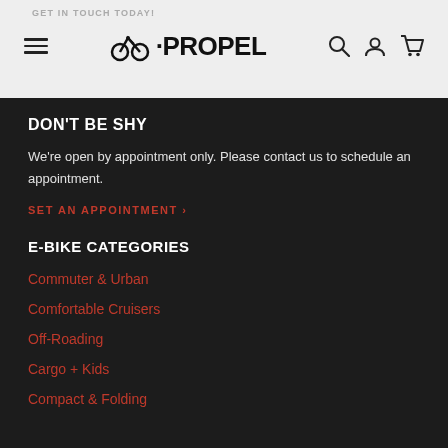GET IN TOUCH TODAY!
[Figure (logo): Propel e-bikes logo with bicycle icon and text PROPEL, navigation icons including search, user, and cart]
DON'T BE SHY
We're open by appointment only. Please contact us to schedule an appointment.
SET AN APPOINTMENT >
E-BIKE CATEGORIES
Commuter & Urban
Comfortable Cruisers
Off-Roading
Cargo + Kids
Compact & Folding